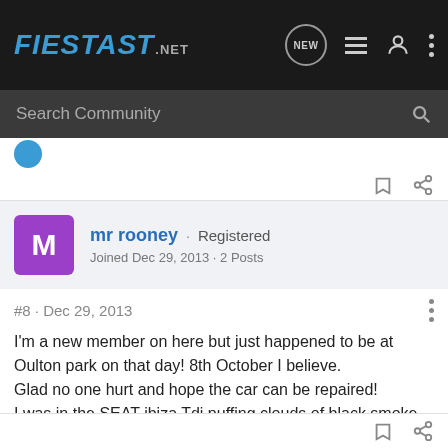FIESTA ST.NET
Search Community
mr rooney · Registered
Joined Dec 29, 2013 · 2 Posts
#8 · Dec 29, 2013
I'm a new member on here but just happened to be at Oulton park on that day! 8th October I believe.
Glad no one hurt and hope the car can be repaired!
I was in the SEAT ibiza Tdi puffing clouds of black smoke lol!